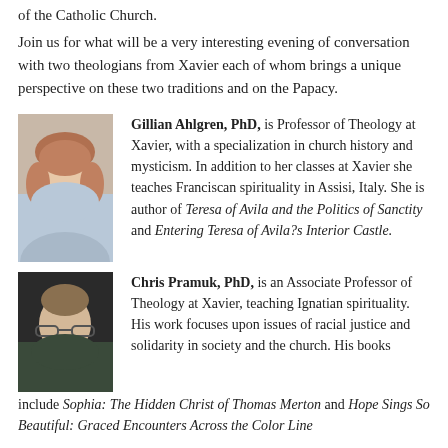of the Catholic Church.
Join us for what will be a very interesting evening of conversation with two theologians from Xavier each of whom brings a unique perspective on these two traditions and on the Papacy.
[Figure (photo): Headshot of Gillian Ahlgren, a woman with short reddish-brown hair wearing a light blue top, smiling.]
Gillian Ahlgren, PhD, is Professor of Theology at Xavier, with a specialization in church history and mysticism. In addition to her classes at Xavier she teaches Franciscan spirituality in Assisi, Italy. She is author of Teresa of Avila and the Politics of Sanctity and Entering Teresa of Avila?s Interior Castle.
[Figure (photo): Headshot of Chris Pramuk, a man with short hair wearing glasses and a suit, photographed against a dark chalkboard background.]
Chris Pramuk, PhD, is an Associate Professor of Theology at Xavier, teaching Ignatian spirituality. His work focuses upon issues of racial justice and solidarity in society and the church. His books include Sophia: The Hidden Christ of Thomas Merton and Hope Sings So Beautiful: Graced Encounters Across the Color Line